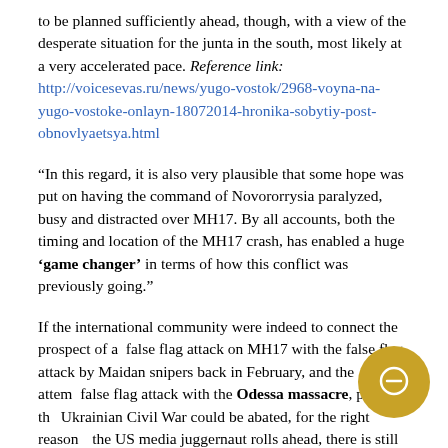to be planned sufficiently ahead, though, with a view of the desperate situation for the junta in the south, most likely at a very accelerated pace. Reference link: http://voicesevas.ru/news/yugo-vostok/2968-voyna-na-yugo-vostoke-onlayn-18072014-hronika-sobytiy-post-obnovlyaetsya.html
“In this regard, it is also very plausible that some hope was put on having the command of Novororrysia paralyzed, busy and distracted over MH17. By all accounts, both the timing and location of the MH17 crash, has enabled a huge ‘game changer’ in terms of how this conflict was previously going.”
If the international community were indeed to connect the prospect of a  false flag attack on MH17 with the false flag attack by Maidan snipers back in February, and the attempt false flag attack with the Odessa massacre, perhaps the Ukrainian Civil War could be abated, for the right reasons. the US media juggernaut rolls ahead, there is still no sign of either Washington, London or Brussels admitting that their